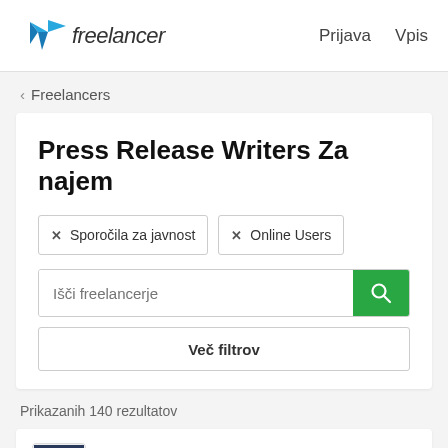freelancer   Prijava   Vpis
‹ Freelancers
Press Release Writers Za najem
✕ Sporočila za javnost  ✕ Online Users
Išči freelancerje
Več filtrov
Prikazanih 140 rezultatov
desource2012   $30 USD/uro